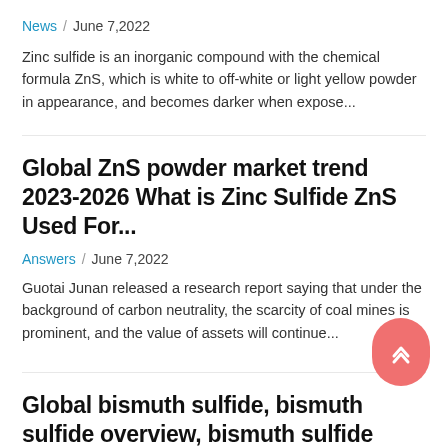News / June 7,2022
Zinc sulfide is an inorganic compound with the chemical formula ZnS, which is white to off-white or light yellow powder in appearance, and becomes darker when expose...
Global ZnS powder market trend 2023-2026 What is Zinc Sulfide ZnS Used For...
Answers / June 7,2022
Guotai Junan released a research report saying that under the background of carbon neutrality, the scarcity of coal mines is prominent, and the value of assets will continue...
Global bismuth sulfide, bismuth sulfide overview, bismuth sulfide application,...